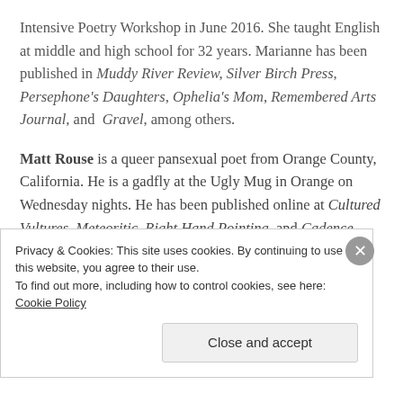Intensive Poetry Workshop in June 2016. She taught English at middle and high school for 32 years. Marianne has been published in Muddy River Review, Silver Birch Press, Persephone's Daughters, Ophelia's Mom, Remembered Arts Journal, and Gravel, among others.
Matt Rouse is a queer pansexual poet from Orange County, California. He is a gadfly at the Ugly Mug in Orange on Wednesday nights. He has been published online at Cultured Vultures, Meteoritic, Right Hand Pointing, and Cadence Collective. You can find in in
Privacy & Cookies: This site uses cookies. By continuing to use this website, you agree to their use. To find out more, including how to control cookies, see here: Cookie Policy